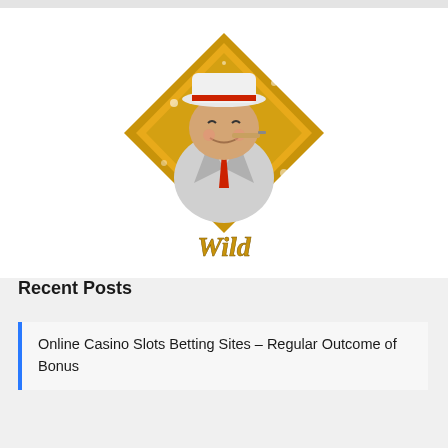[Figure (illustration): A casino slot game Wild symbol: a diamond-shaped gold badge featuring a cartoon mobster character wearing a white suit, red tie, and hat, with a cigar in his mouth, and the word 'Wild' written in gold cursive script below.]
Recent Posts
Online Casino Slots Betting Sites – Regular Outcome of Bonus